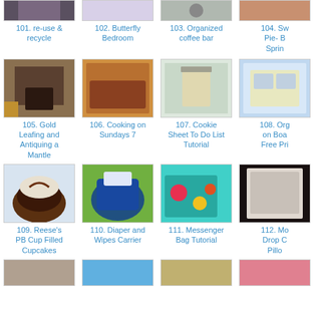[Figure (photo): Cropped thumbnail row 1, item 101: re-use & recycle]
101. re-use & recycle
[Figure (photo): Cropped thumbnail row 1, item 102: Butterfly Bedroom]
102. Butterfly Bedroom
[Figure (photo): Cropped thumbnail row 1, item 103: Organized coffee bar]
103. Organized coffee bar
[Figure (photo): Cropped thumbnail row 1, item 104: Sw... Pie- B... Sprin...]
104. Sw Pie- B Sprin
[Figure (photo): Thumbnail item 105: Gold Leafing and Antiquing a Mantle - fireplace interior]
105. Gold Leafing and Antiquing a Mantle
[Figure (photo): Thumbnail item 106: Cooking on Sundays 7 - baked meat dish]
106. Cooking on Sundays 7
[Figure (photo): Thumbnail item 107: Cookie Sheet To Do List Tutorial - pegboard with paper roll]
107. Cookie Sheet To Do List Tutorial
[Figure (photo): Cropped thumbnail item 108: Org on Boa Free Pri...]
108. Org on Boa Free Pri
[Figure (photo): Thumbnail item 109: Reese's PB Cup Filled Cupcakes - chocolate cupcake]
109. Reese's PB Cup Filled Cupcakes
[Figure (photo): Thumbnail item 110: Diaper and Wipes Carrier - colorful fabric bag]
110. Diaper and Wipes Carrier
[Figure (photo): Thumbnail item 111: Messenger Bag Tutorial - floral tote bag]
111. Messenger Bag Tutorial
[Figure (photo): Cropped thumbnail item 112: Mo Drop C Pillo...]
112. Mo Drop C Pillo
[Figure (photo): Cropped bottom row thumbnails 113-116]
113. (partial)
114. (partial)
115. (partial)
116. (partial)